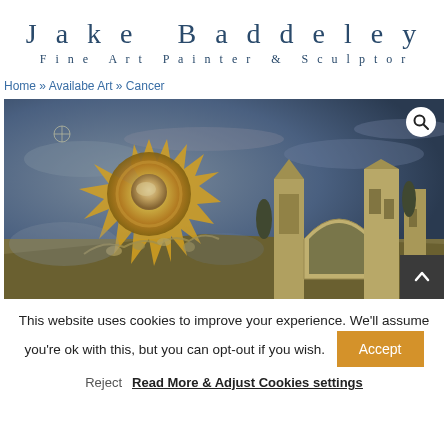Jake Baddeley
Fine Art Painter & Sculptor
Home » Availabe Art » Cancer
[Figure (illustration): A fantasy/surrealist painting depicting a flaming sun-like orb with human figures, pyramidal ruins, and Gothic castle towers in a dramatic landscape with cloudy skies.]
This website uses cookies to improve your experience. We'll assume you're ok with this, but you can opt-out if you wish.
Reject   Read More & Adjust Cookies settings